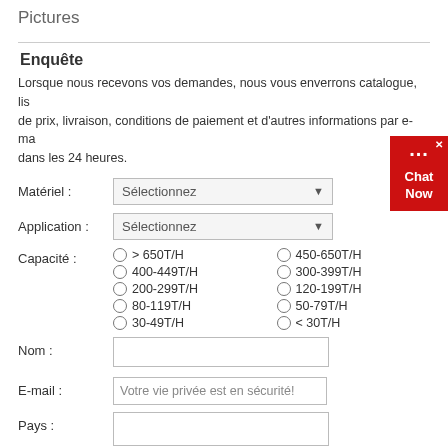Pictures
Enquête
Lorsque nous recevons vos demandes, nous vous enverrons catalogue, liste de prix, livraison, conditions de paiement et d'autres informations par e-mail dans les 24 heures.
Matériel : [Sélectionnez dropdown]
Application : [Sélectionnez dropdown]
Capacité : > 650T/H, 450-650T/H, 400-449T/H, 300-399T/H, 200-299T/H, 120-199T/H, 80-119T/H, 50-79T/H, 30-49T/H, < 30T/H
Nom :
E-mail : Votre vie privée est en sécurité!
Pays :